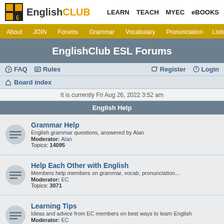EnglishCLUB | LEARN  TEACH  MYEC  eBOOKS
About  JOIN  Forums  Grammar  Vocabulary  Pronunciation  Listening
EnglishClub ESL Forums
FAQ  Rules  Register  Login
Board index
It is currently Fri Aug 26, 2022 3:52 am
English Help
Grammar Help
English grammar questions, answered by Alan
Moderator: Alan
Topics: 14095
Help Each Other with English
Members help members on grammar, vocab, pronunciation...
Moderator: EC
Topics: 3071
Learning Tips
Ideas and advice from EC members on best ways to learn English
Moderator: EC
Topics: 39